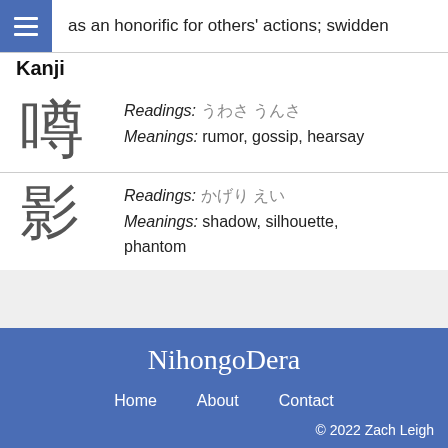as an honorific for others' actions; swidden
Kanji
噂 Readings: ［readings］ Meanings: rumor, gossip, hearsay
影 Readings: ［readings］ Meanings: shadow, silhouette, phantom
NihongoDera — Home About Contact — © 2022 Zach Leigh